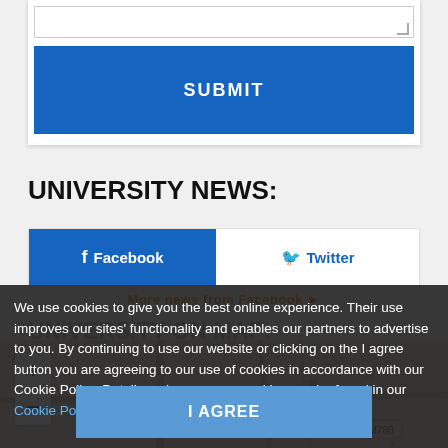[Figure (screenshot): White form area with a blue SUBMIT button at top of page]
UNIVERSITY NEWS:
[Figure (screenshot): Social media bar with Facebook (blue button) and Twitter links]
More news from Facebook ▶
UNIVERSITY ON MAP:
[Figure (map): University campus map with zoom controls showing roads and map features]
We use cookies to give you the best online experience. Their use improves our sites' functionality and enables our partners to advertise to you. By continuing to use our website or clicking on the I agree button you are agreeing to our use of cookies in accordance with our Cookie Policy. Details on how we use cookies can be found in our Cookie Policy
I AGREE